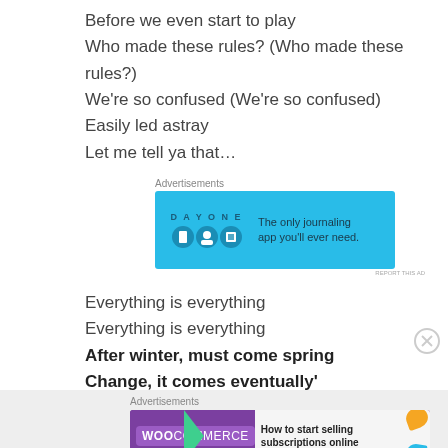Before we even start to play
Who made these rules? (Who made these rules?)
We're so confused (We're so confused)
Easily led astray
Let me tell ya that…
[Figure (infographic): DayOne journaling app advertisement banner with blue background, app icons, and text 'The only journaling app you'll ever need.']
Everything is everything
Everything is everything
After winter, must come spring
Change, it comes eventually'
[Figure (infographic): WooCommerce advertisement banner with purple background, green arrow, and text 'How to start selling subscriptions online']